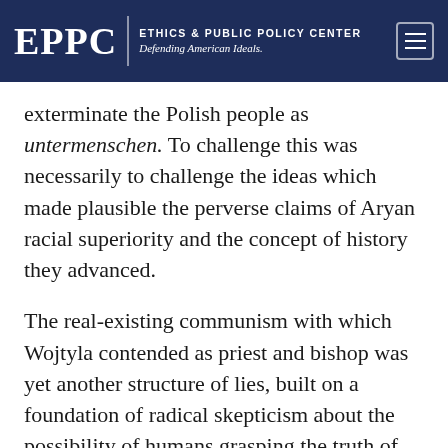EPPC | ETHICS & PUBLIC POLICY CENTER Defending American Ideals.
exterminate the Polish people as untermenschen. To challenge this was necessarily to challenge the ideas which made plausible the perverse claims of Aryan racial superiority and the concept of history they advanced.
The real-existing communism with which Wojtyla contended as priest and bishop was yet another structure of lies, built on a foundation of radical skepticism about the possibility of humans grasping the truth of things. A typical joke of 1970s Poland captured the essence of the problem: Communist boss... "How much is